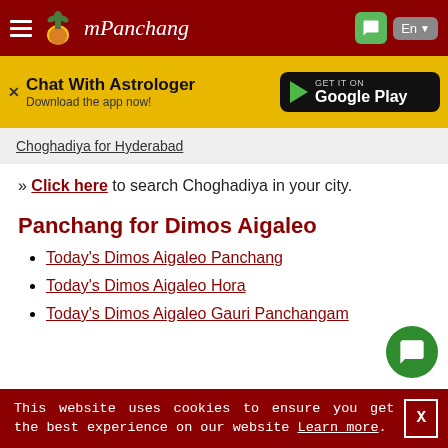mPanchang
[Figure (screenshot): Ad banner: Chat With Astrologer – Download the app now! with Google Play button]
Choghadiya for Hyderabad
» Click here to search Choghadiya in your city.
Panchang for Dimos Aigaleo
Today's Dimos Aigaleo Panchang
Today's Dimos Aigaleo Hora
Today's Dimos Aigaleo Gauri Panchangam
This website uses cookies to ensure you get the best experience on our website Learn more. X